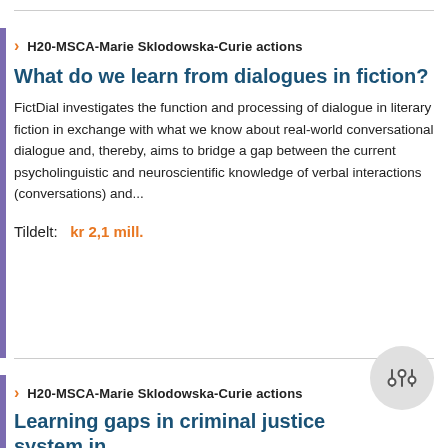H20-MSCA-Marie Sklodowska-Curie actions
What do we learn from dialogues in fiction?
FictDial investigates the function and processing of dialogue in literary fiction in exchange with what we know about real-world conversational dialogue and, thereby, aims to bridge a gap between the current psycholinguistic and neuroscientific knowledge of verbal interactions (conversations) and...
Tildelt:   kr 2,1 mill.
H20-MSCA-Marie Sklodowska-Curie actions
Learning gaps in criminal justice system in
GAPSLE is an interdisciplinary project studying criminal justice system (CJS) in Norway. It recognises the need to go beyond individual skill-based learning and promotes development of collaborative learning environments to find...